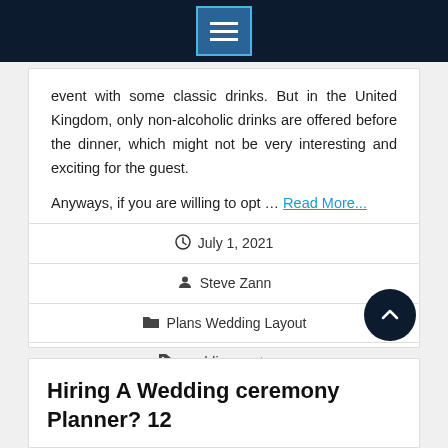Navigation menu header bar
event with some classic drinks. But in the United Kingdom, only non-alcoholic drinks are offered before the dinner, which might not be very interesting and exciting for the guest.
Anyways, if you are willing to opt ... Read More...
July 1, 2021
Steve Zann
Plans Wedding Layout
wedding customs
Hiring A Wedding ceremony Planner? 12